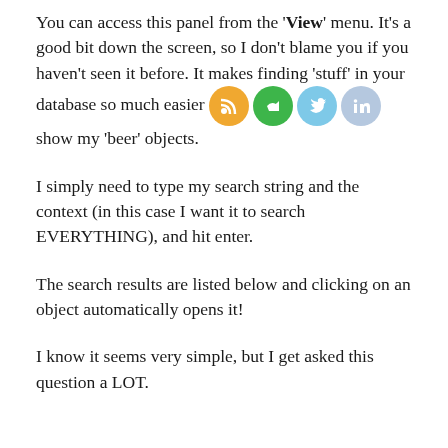You can access this panel from the 'View' menu. It's a good bit down the screen, so I don't blame you if you haven't seen it before. It makes finding 'stuff' in your database so much easier [icons] show my 'beer' objects.
I simply need to type my search string and the context (in this case I want it to search EVERYTHING), and hit enter.
The search results are listed below and clicking on an object automatically opens it!
I know it seems very simple, but I get asked this question a LOT.